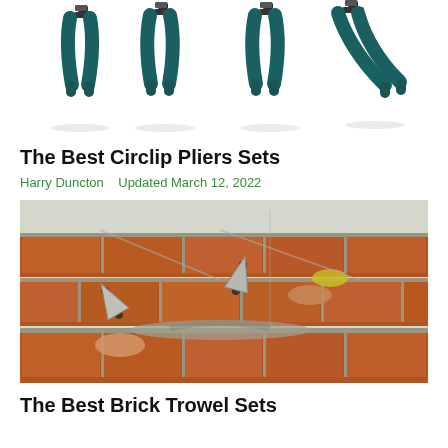[Figure (photo): Four circlip pliers with teal/dark green rubber-grip handles arranged in a fan-like spread against a white background]
The Best Circlip Pliers Sets
Harry Duncton   Updated March 12, 2022
[Figure (photo): Workers laying bricks on a wall using brick trowels, spreading mortar/cement, with hands visible and red brick wall in background]
The Best Brick Trowel Sets